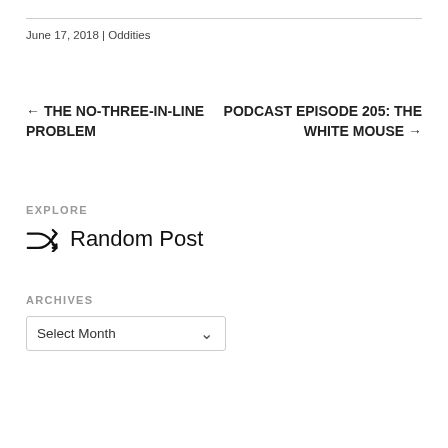June 17, 2018 | Oddities
← THE NO-THREE-IN-LINE PROBLEM
PODCAST EPISODE 205: THE WHITE MOUSE →
EXPLORE
Random Post
ARCHIVES
Select Month